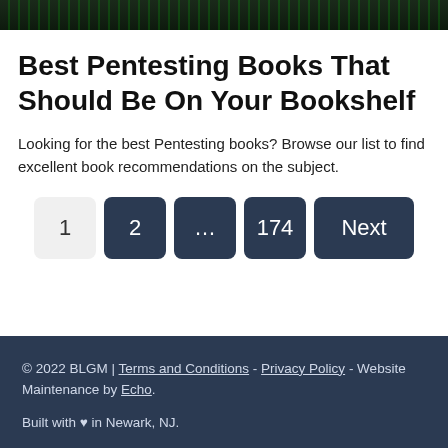[Figure (photo): Dark hacker/coding background image with green code text on dark background]
Best Pentesting Books That Should Be On Your Bookshelf
Looking for the best Pentesting books? Browse our list to find excellent book recommendations on the subject.
Pagination: 1 (current), 2, ..., 174, Next
© 2022 BLGM | Terms and Conditions - Privacy Policy - Website Maintenance by Echo.
Built with ♥ in Newark, NJ.